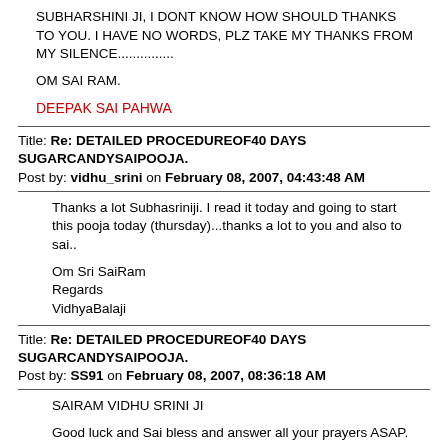SUBHARSHINI JI, I DONT KNOW HOW SHOULD THANKS TO YOU. I HAVE NO WORDS, PLZ TAKE MY THANKS FROM MY SILENCE..............
OM SAI RAM.
DEEPAK SAI PAHWA
Title: Re: DETAILED PROCEDUREOF40 DAYS SUGARCANDYSAIPOOJA.
Post by: vidhu_srini on February 08, 2007, 04:43:48 AM
Thanks a lot Subhasriniji. I read it today and going to start this pooja today (thursday)...thanks a lot to you and also to sai..
Om Sri SaiRam
Regards
VidhyaBalaji
Title: Re: DETAILED PROCEDUREOF40 DAYS SUGARCANDYSAIPOOJA.
Post by: SS91 on February 08, 2007, 08:36:18 AM
SAIRAM VIDHU SRINI JI
Good luck and Sai bless and answer all your prayers ASAP.